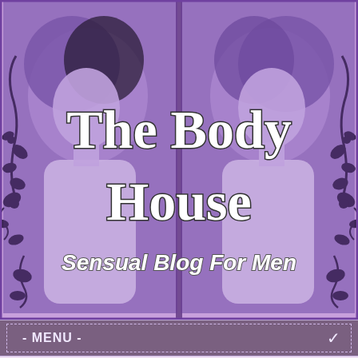[Figure (illustration): Website banner for 'The Body House – Sensual Blog For Men'. Purple-tinted vintage photo collage showing two mirrored images of a glamorous blonde woman. Decorative black floral/vine scrollwork overlaid. Background is a purple-tinted newsprint texture. White bold serif text reads 'The Body House' and italic styled text 'Sensual Blog For Men'.]
- MENU -
Marking Her Territory: A